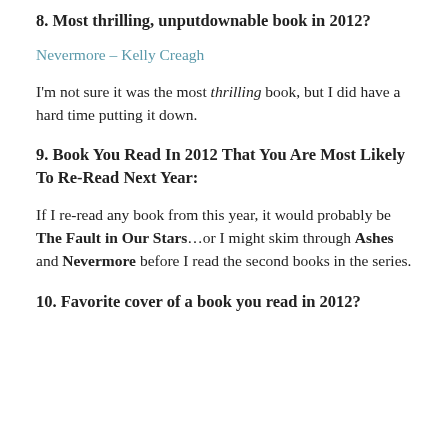8. Most thrilling, unputdownable book in 2012?
Nevermore – Kelly Creagh
I'm not sure it was the most thrilling book, but I did have a hard time putting it down.
9. Book You Read In 2012 That You Are Most Likely To Re-Read Next Year:
If I re-read any book from this year, it would probably be The Fault in Our Stars…or I might skim through Ashes and Nevermore before I read the second books in the series.
10. Favorite cover of a book you read in 2012?